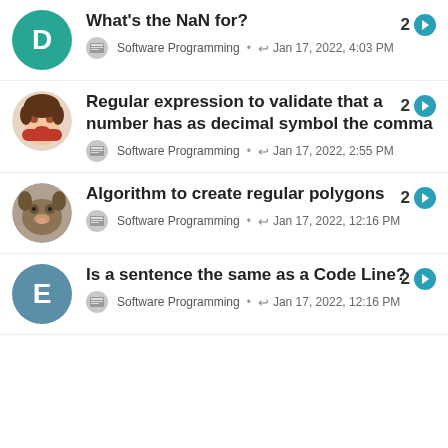What's the NaN for? | Software Programming • ↩ Jan 17, 2022, 4:03 PM | 2
Regular expression to validate that a number has as decimal symbol the comma | Software Programming • ↩ Jan 17, 2022, 2:55 PM | 2
Algorithm to create regular polygons | Software Programming • ↩ Jan 17, 2022, 12:16 PM | 2
Is a sentence the same as a Code Line? | Software Programming • ↩ Jan 17, 2022, 12:16 PM | 2